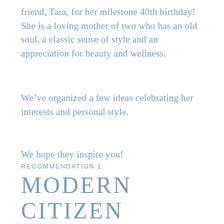friend, Tara, for her milestone 40th birthday! She is a loving mother of two who has an old soul, a classic sense of style and an appreciation for beauty and wellness.
We've organized a few ideas celebrating her interests and personal style.
We hope they inspire you!
RECOMMENDATION 1.
MODERN CITIZEN
GOLD ENFOLD